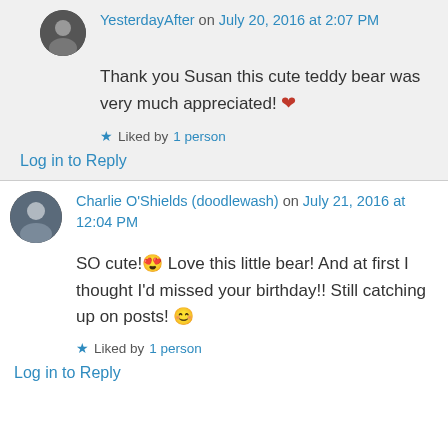YesterdayAfter on July 20, 2016 at 2:07 PM
Thank you Susan this cute teddy bear was very much appreciated! ❤
Liked by 1 person
Log in to Reply
Charlie O'Shields (doodlewash) on July 21, 2016 at 12:04 PM
SO cute!😍 Love this little bear! And at first I thought I'd missed your birthday!! Still catching up on posts! 😊
Liked by 1 person
Log in to Reply